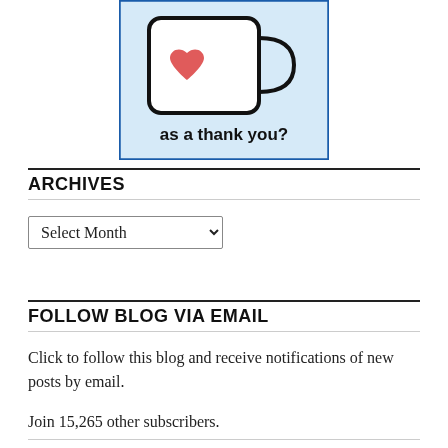[Figure (illustration): A white coffee mug with a red heart on it, on a light blue background, with the text 'as a thank you?' below it, bordered by a blue rectangle.]
ARCHIVES
Select Month
FOLLOW BLOG VIA EMAIL
Click to follow this blog and receive notifications of new posts by email.
Join 15,265 other subscribers.